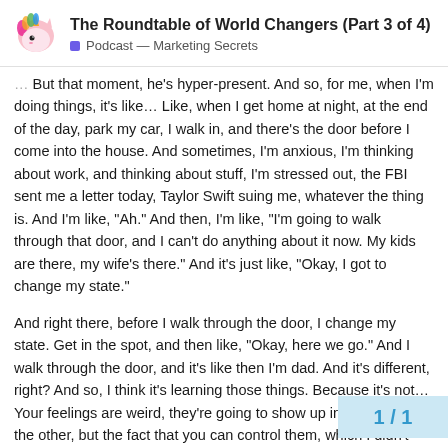The Roundtable of World Changers (Part 3 of 4)
Podcast — Marketing Secrets
But that moment, he's hyper-present. And so, for me, when I'm doing things, it's like… Like, when I get home at night, at the end of the day, park my car, I walk in, and there's the door before I come into the house. And sometimes, I'm anxious, I'm thinking about work, and thinking about stuff, I'm stressed out, the FBI sent me a letter today, Taylor Swift suing me, whatever the thing is. And I'm like, "Ah." And then, I'm like, "I'm going to walk through that door, and I can't do anything about it now. My kids are there, my wife's there." And it's just like, "Okay, I got to change my state."
And right there, before I walk through the door, I change my state. Get in the spot, and then like, "Okay, here we go." And I walk through the door, and it's like then I'm dad. And it's different, right? And so, I think it's learning those things. Because it's not… Your feelings are weird, they're going to show up in one way or the other, but the fact that you can control them, which I didn't understand or know h  realized that, it's just like, "I don't have to